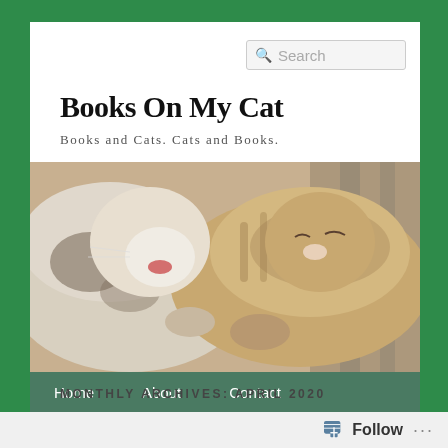Books On My Cat
Books and Cats. Cats and Books.
[Figure (photo): Close-up photo of two cats nuzzling or play-biting each other, one white and one tabby, with blurred background.]
Home  About  Contact
MONTHLY ARCHIVES: APRIL 2020
Follow